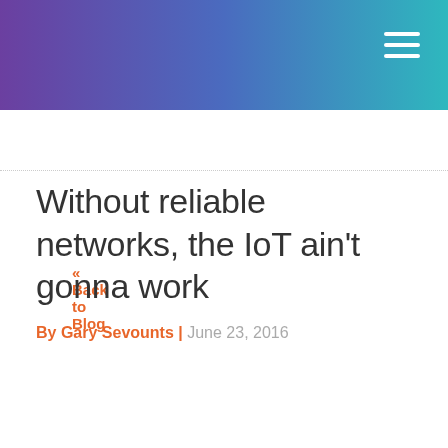« Back to Blog
Without reliable networks, the IoT ain't gonna work
By Gary Sevounts | June 23, 2016